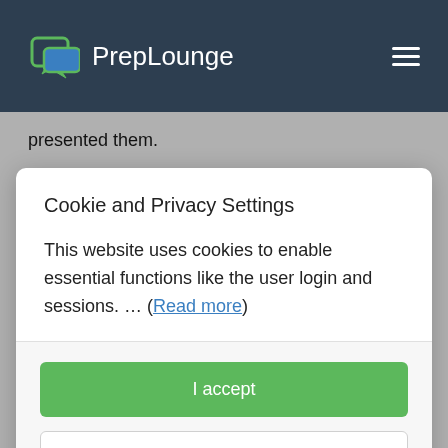[Figure (logo): PrepLounge logo with chat bubble icon and site name in white on dark navy navbar]
presented them.
Thanks again.
Cookie and Privacy Settings
This website uses cookies to enable essential functions like the user login and sessions. … (Read more)
I accept
Manage settings individually